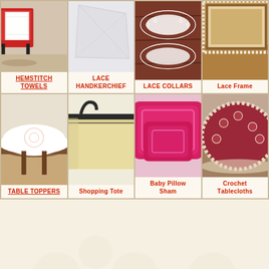[Figure (photo): Hemstitch towels with red chair in background]
HEMSTITCH TOWELS
[Figure (photo): Lace handkerchief, light gray fabric]
LACE HANDKERCHIEF
[Figure (photo): Lace collars on dark wood background]
LACE COLLARS
[Figure (photo): Lace frame, decorative picture frame]
Lace Frame
[Figure (photo): Table toppers, round white embroidered tablecloth on round table]
TABLE TOPPERS
[Figure (photo): Shopping tote bag, cream/yellow color with black zipper]
Shopping Tote
[Figure (photo): Baby pillow sham in bright pink/magenta]
Baby Pillow Sham
[Figure (photo): Crochet tablecloths, dark red/maroon round table with lace edge]
Crochet Tablecloths
Copyright ©The Battenburg Lace Store, Inc, Dallas, Texas [1986-2022]
Copyright ©All IMAGES / The Battenburg Lace Store, Inc, Dallas, Texas [2015